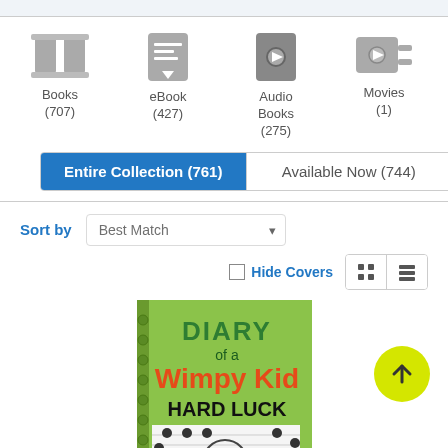Books (707)
eBook (427)
Audio Books (275)
Movies (1)
Entire Collection (761)   Available Now (744)
Sort by   Best Match
Hide Covers
[Figure (illustration): Book cover: Diary of a Wimpy Kid Hard Luck, green cover with cartoon character]
[Figure (other): Yellow circular scroll-to-top arrow button]